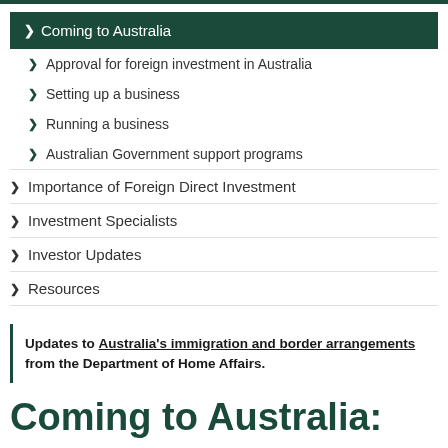Coming to Australia
Approval for foreign investment in Australia
Setting up a business
Running a business
Australian Government support programs
Importance of Foreign Direct Investment
Investment Specialists
Investor Updates
Resources
Updates to Australia's immigration and border arrangements from the Department of Home Affairs.
Coming to Australia: